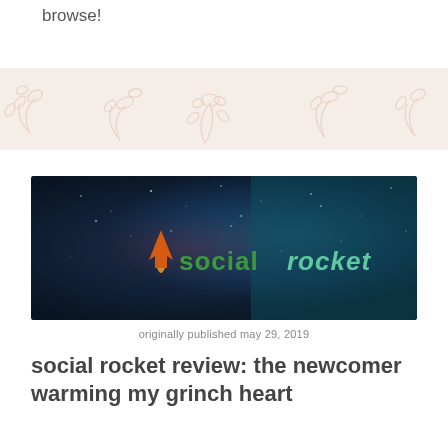browse!
[Figure (illustration): Floral decorative banner with light pink/peach background and outline drawings of botanical leaves and branches]
[Figure (photo): Galaxy/space background image with Social Rocket logo overlay — rocket icon in orange, text 'social rocket' in green and teal]
originally published may 29, 2019
social rocket review: the newcomer warming my grinch heart